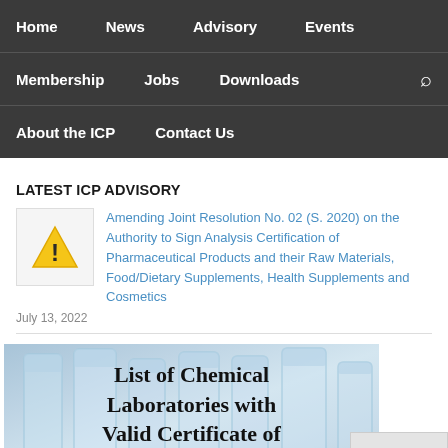Home  News  Advisory  Events  Membership  Jobs  Downloads  About the ICP  Contact Us
LATEST ICP ADVISORY
Amending Joint Resolution No. 02 (S. 2020) on the Authority to Sign Analysis Certification of Pharmaceutical Products and their Raw Materials, Food/Dietary Supplements, Health Supplements and Cosmetics
July 13, 2022
[Figure (illustration): List of Chemical Laboratories with Valid Certificate of Authority to Operate — text overlaid on laboratory glassware background image]
List of Chemical Laboratories with Valid Certificate of Authority to Operate